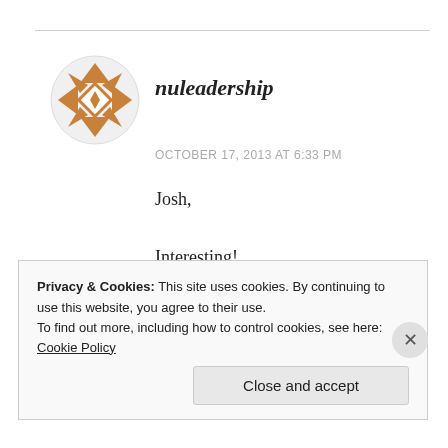[Figure (logo): Brown geometric snowflake/cross pattern avatar icon for user nuleadership]
nuleadership
OCTOBER 17, 2013 AT 6:33 PM
Josh,

Interesting!

Is Emotion the primary driver of all sales?
Privacy & Cookies: This site uses cookies. By continuing to use this website, you agree to their use.
To find out more, including how to control cookies, see here: Cookie Policy
Close and accept